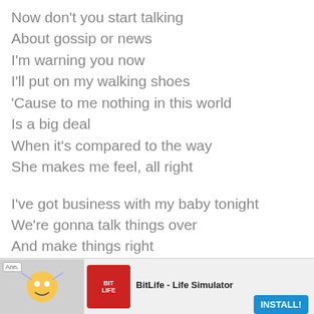Now don't you start talking
About gossip or news
I'm warning you now
I'll put on my walking shoes
'Cause to me nothing in this world
Is a big deal
When it's compared to the way
She makes me feel, all right

I've got business with my baby tonight
We're gonna talk things over
And make things right
'Cause I couldn't sleep at all
ce we had our fight
[Figure (screenshot): Advertisement banner for BitLife - Life Simulator app with install button]